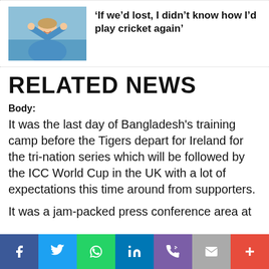[Figure (photo): Cricket player in blue jersey with hands on head, smiling, outdoors]
‘If we’d lost, I didn’t know how I’d play cricket again’
RELATED NEWS
Body:
It was the last day of Bangladesh's training camp before the Tigers depart for Ireland for the tri-nation series which will be followed by the ICC World Cup in the UK with a lot of expectations this time around from supporters.
It was a jam-packed press conference area at